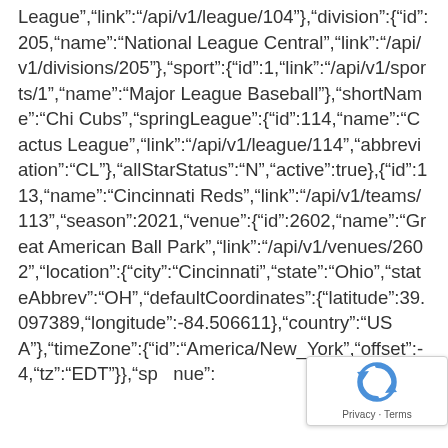League","link":"/api/v1/league/104"},"division":{"id":205,"name":"National League Central","link":"/api/v1/divisions/205"},"sport":{"id":1,"link":"/api/v1/sports/1","name":"Major League Baseball"},"shortName":"Chi Cubs","springLeague":{"id":114,"name":"Cactus League","link":"/api/v1/league/114","abbreviation":"CL"},"allStarStatus":"N","active":true},{"id":113,"name":"Cincinnati Reds","link":"/api/v1/teams/113","season":2021,"venue":{"id":2602,"name":"Great American Ball Park","link":"/api/v1/venues/2602","location":{"city":"Cincinnati","state":"Ohio","stateAbbrev":"OH","defaultCoordinates":{"latitude":39.097389,"longitude":-84.506611},"country":"USA"},"timeZone":{"id":"America/New_York","offset":-4,"tz":"EDT"}},"sp nue":
[Figure (other): reCAPTCHA badge with Privacy and Terms links]